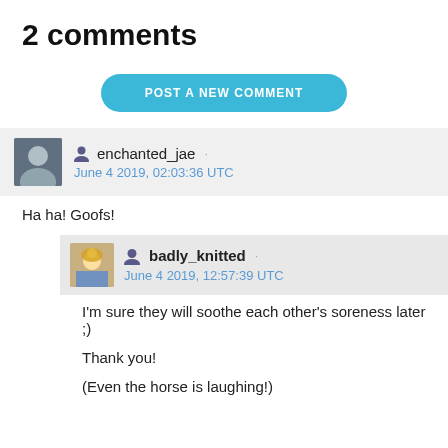2 comments
POST A NEW COMMENT
enchanted_jae · June 4 2019, 02:03:36 UTC
Ha ha! Goofs!
badly_knitted · June 4 2019, 12:57:39 UTC
I'm sure they will soothe each other's soreness later ;)
Thank you!
(Even the horse is laughing!)